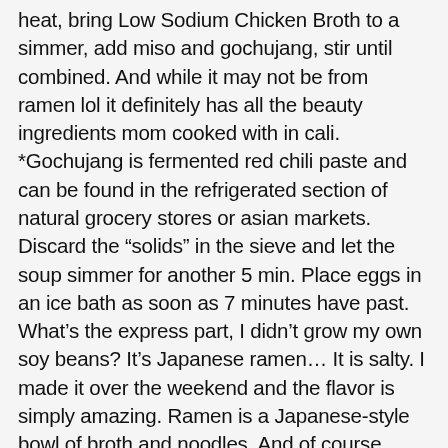heat, bring Low Sodium Chicken Broth to a simmer, add miso and gochujang, stir until combined. And while it may not be from ramen lol it definitely has all the beauty ingredients mom cooked with in cali. *Gochujang is fermented red chili paste and can be found in the refrigerated section of natural grocery stores or asian markets. Discard the "solids" in the sieve and let the soup simmer for another 5 min. Place eggs in an ice bath as soon as 7 minutes have past. What's the express part, I didn't grow my own soy beans? It's Japanese ramen… It is salty. I made it over the weekend and the flavor is simply amazing. Ramen is a Japanese-style bowl of broth and noodles. And of course, instant ramen packets don't contain any vegetables or significant sources of protein. This year I got lucky again when I got to explore easy recipes for homemade ramen in Ramen for Beginners. PRINT. When you say soup, are you referring to the stock and soy milk that is already simmering with all the miso in it already with the mushrooms? This site uses Akismet to reduce spam. If 2018 was the year of anything for me culinarily, it was most definitely the year of ramen. Ramen noodles are wheat noodles by definition, but if you are on a gluten-free diet (something from our excess calories)...